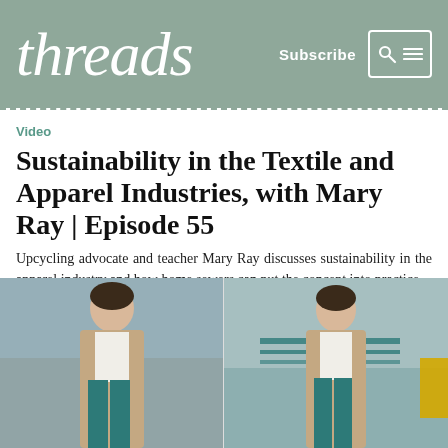threads — Subscribe [search/menu icons]
Video
Sustainability in the Textile and Apparel Industries, with Mary Ray | Episode 55
Upcycling advocate and teacher Mary Ray discusses sustainability in the apparel industry and how home sewers can put the concept into practice.
[Figure (photo): Two side-by-side photos of Mary Ray wearing teal trousers, a white top, and a tan long cardigan, posed outdoors in an urban setting.]